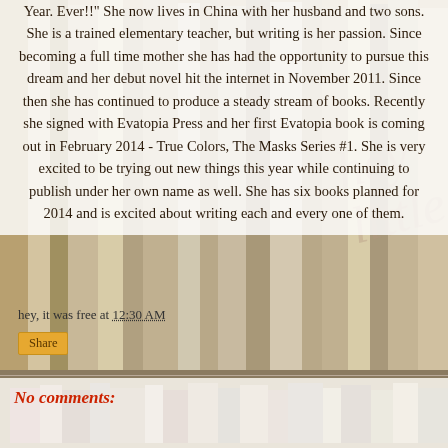Year. Ever!!" She now lives in China with her husband and two sons. She is a trained elementary teacher, but writing is her passion. Since becoming a full time mother she has had the opportunity to pursue this dream and her debut novel hit the internet in November 2011. Since then she has continued to produce a steady stream of books. Recently she signed with Evatopia Press and her first Evatopia book is coming out in February 2014 - True Colors, The Masks Series #1. She is very excited to be trying out new things this year while continuing to publish under her own name as well. She has six books planned for 2014 and is excited about writing each and every one of them.
hey, it was free at 12:30 AM
Share
No comments: